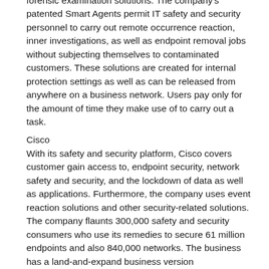forensic examination solutions. The company's patented Smart Agents permit IT safety and security personnel to carry out remote occurrence reaction, inner investigations, as well as endpoint removal jobs without subjecting themselves to contaminated customers. These solutions are created for internal protection settings as well as can be released from anywhere on a business network. Users pay only for the amount of time they make use of to carry out a task.
Cisco
With its safety and security platform, Cisco covers customer gain access to, endpoint security, network safety and security, and the lockdown of data as well as applications. Furthermore, the company uses event reaction solutions and other security-related solutions. The company flaunts 300,000 safety and security consumers who use its remedies to secure 61 million endpoints and also 840,000 networks. The business has a land-and-expand business version